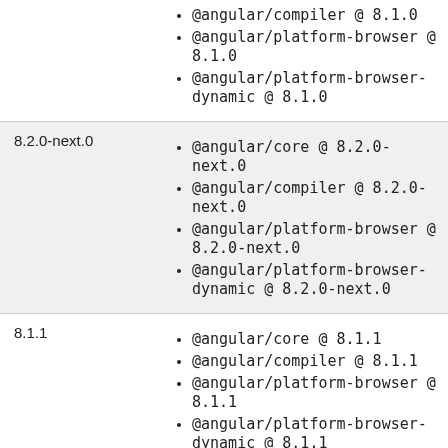@angular/compiler @ 8.1.0
@angular/platform-browser @ 8.1.0
@angular/platform-browser-dynamic @ 8.1.0
| Version | Packages |
| --- | --- |
| 8.2.0-next.0 | @angular/core @ 8.2.0-next.0
@angular/compiler @ 8.2.0-next.0
@angular/platform-browser @ 8.2.0-next.0
@angular/platform-browser-dynamic @ 8.2.0-next.0 |
| 8.1.1 | @angular/core @ 8.1.1
@angular/compiler @ 8.1.1
@angular/platform-browser @ 8.1.1
@angular/platform-browser-dynamic @ 8.1.1 |
| 8.2.0-next.1 | @angular/core @ 8.2.0-next.1 |